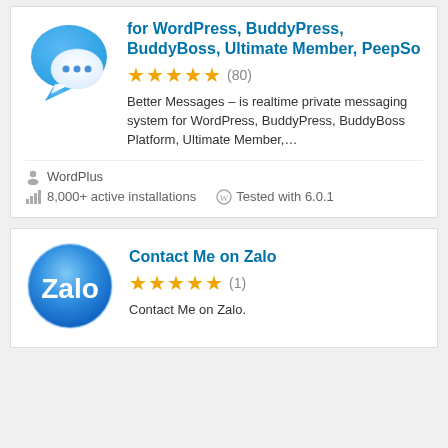[Figure (logo): Better Messages plugin icon: blue speech bubble with white chat bubble and three blue dots]
for WordPress, BuddyPress, BuddyBoss, Ultimate Member, PeepSo
[Figure (other): 5 gold stars rating with (80) review count]
Better Messages – is realtime private messaging system for WordPress, BuddyPress, BuddyBoss Platform, Ultimate Member,...
WordPlus
8,000+ active installations   Tested with 6.0.1
Contact Me on Zalo
[Figure (other): 5 gold stars rating with (1) review count]
Contact Me on Zalo.
[Figure (logo): Zalo plugin icon: circular blue gradient logo with Zalo letter mark]